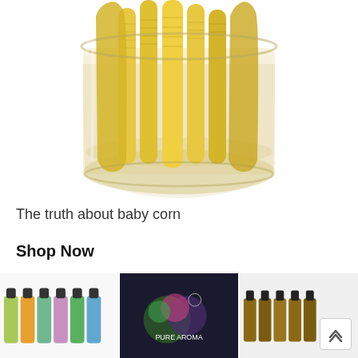[Figure (photo): A glass jar filled with pickled baby corn (small yellow corn cobs in brine), photographed from above/front on a white background.]
The truth about baby corn
Shop Now
[Figure (photo): Product strip showing three product items: left - colorful set of essential oil bottles, center - dark box labeled Pure Aroma with floral design, right - set of amber essential oil bottles. A scroll-up arrow button is visible on the right side.]